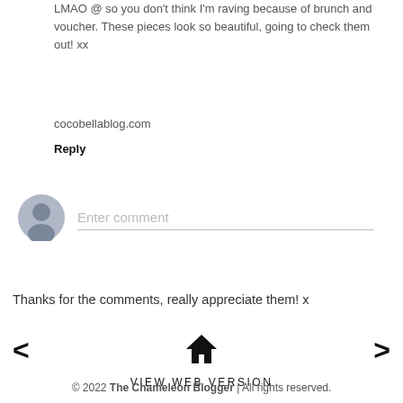LMAO @ so you don't think I'm raving because of brunch and voucher. These pieces look so beautiful, going to check them out! xx
cocobellablog.com
Reply
Enter comment
Thanks for the comments, really appreciate them! x
VIEW WEB VERSION
© 2022 The Chameleon Blogger | All rights reserved.